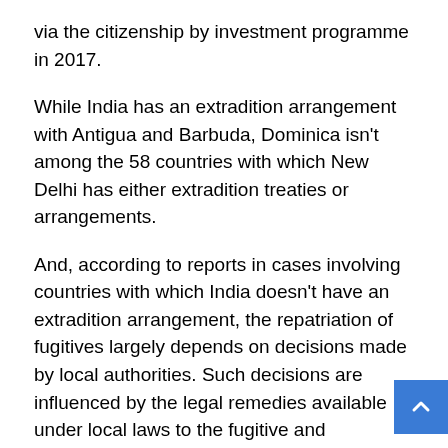via the citizenship by investment programme in 2017.
While India has an extradition arrangement with Antigua and Barbuda, Dominica isn't among the 58 countries with which New Delhi has either extradition treaties or arrangements.
And, according to reports in cases involving countries with which India doesn't have an extradition arrangement, the repatriation of fugitives largely depends on decisions made by local authorities. Such decisions are influenced by the legal remedies available under local laws to the fugitive and assurances given by India regarding the treatment of the fugitive.
Meanwhile Choksi's attorney in India Vijay Aggarwal said in a statement yesterday, “There should be no speculation ‘til one finds out from Mehul Choksi how he landed up in Dominica.